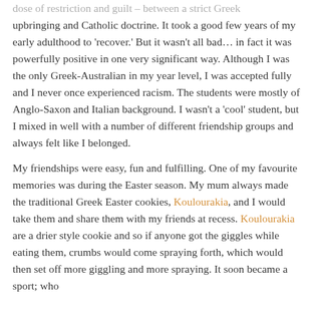dose of restriction and guilt – between a strict Greek upbringing and Catholic doctrine. It took a good few years of my early adulthood to 'recover.' But it wasn't all bad… in fact it was powerfully positive in one very significant way. Although I was the only Greek-Australian in my year level, I was accepted fully and I never once experienced racism. The students were mostly of Anglo-Saxon and Italian background. I wasn't a 'cool' student, but I mixed in well with a number of different friendship groups and always felt like I belonged.
My friendships were easy, fun and fulfilling. One of my favourite memories was during the Easter season. My mum always made the traditional Greek Easter cookies, Koulourakia, and I would take them and share them with my friends at recess. Koulourakia are a drier style cookie and so if anyone got the giggles while eating them, crumbs would come spraying forth, which would then set off more giggling and more spraying. It soon became a sport; who